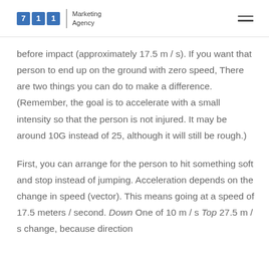711 Marketing Agency
before impact (approximately 17.5 m / s). If you want that person to end up on the ground with zero speed, There are two things you can do to make a difference. (Remember, the goal is to accelerate with a small intensity so that the person is not injured. It may be around 10G instead of 25, although it will still be rough.)
First, you can arrange for the person to hit something soft and stop instead of jumping. Acceleration depends on the change in speed (vector). This means going at a speed of 17.5 meters / second. Down One of 10 m / s Top 27.5 m / s change, because direction